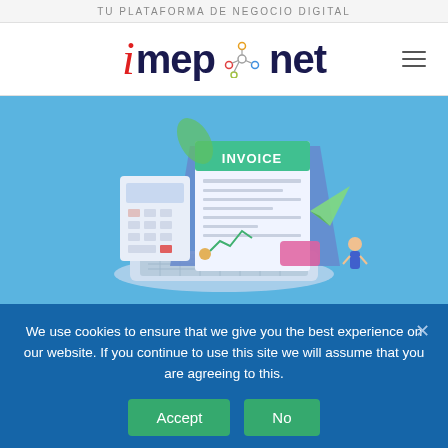TU PLATAFORMA DE NEGOCIO DIGITAL
[Figure (logo): imep.net logo with stylized red italic 'i', dark blue bold 'mep', colorful network dots icon, dark blue bold 'net', and hamburger menu icon]
[Figure (illustration): Isometric illustration on light blue background showing a laptop with an invoice document, calculator, paper airplane, and small business person figures]
We use cookies to ensure that we give you the best experience on our website. If you continue to use this site we will assume that you are agreeing to this.
Accept  No